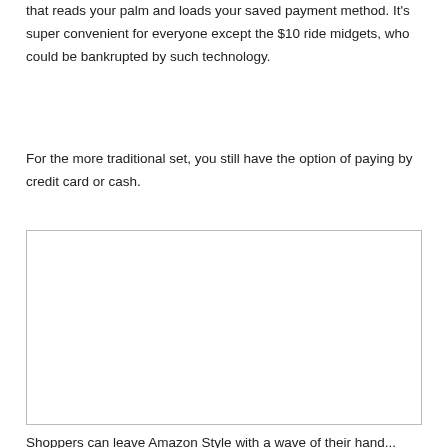that reads your palm and loads your saved payment method. It's super convenient for everyone except the $10 ride midgets, who could be bankrupted by such technology.
For the more traditional set, you still have the option of paying by credit card or cash.
[Figure (photo): Empty white rectangular image placeholder with a light gray border.]
Shoppers can leave Amazon Style with a wave of their hand...